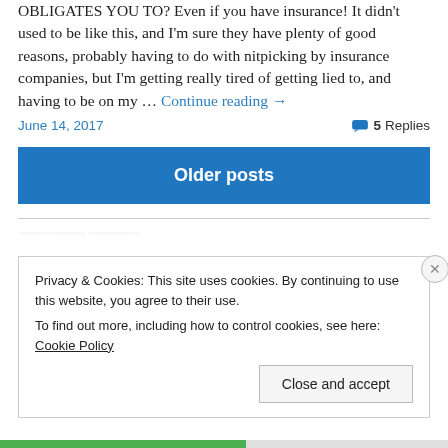OBLIGATES YOU TO? Even if you have insurance! It didn't used to be like this, and I'm sure they have plenty of good reasons, probably having to do with nitpicking by insurance companies, but I'm getting really tired of getting lied to, and having to be on my … Continue reading →
June 14, 2017   💬 5 Replies
Older posts
Privacy & Cookies: This site uses cookies. By continuing to use this website, you agree to their use.
To find out more, including how to control cookies, see here: Cookie Policy
Close and accept